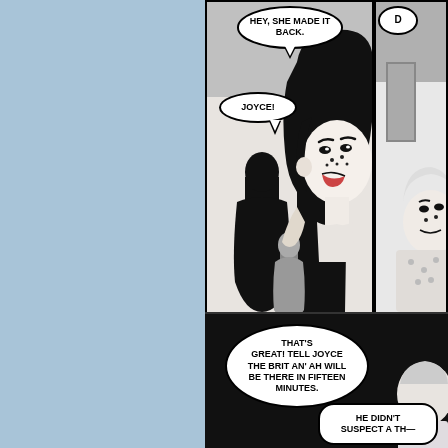[Figure (illustration): Comic book page showing two rows of panels. Left side has a solid light blue background panel. Top right shows two comic panels: one featuring a woman with black hair and freckles reacting with speech bubbles saying 'HEY, SHE MADE IT BACK.' and 'JOYCE!', and a dark silhouetted figure. The right top panel is partially visible showing another character with a partial speech bubble starting with 'D'. Bottom panel on black background has speech bubbles: 'THAT'S GREAT! TELL JOYCE THE BRIT AN' AH WILL BE THERE IN FIFTEEN MINUTES.' and 'HE DIDN'T SUSPECT A TH--']